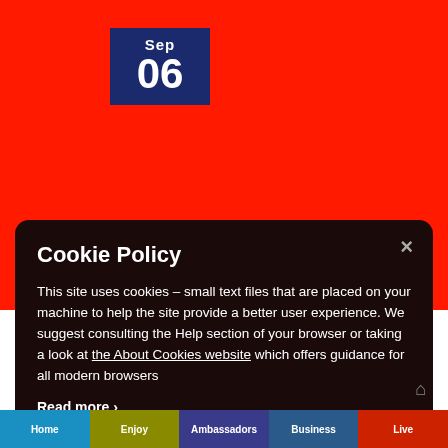[Figure (screenshot): Red background section of a website with a dark blue date box showing Sep 06]
Cookie Policy
This site uses cookies – small text files that are placed on your machine to help the site provide a better user experience. We suggest consulting the Help section of your browser or taking a look at the About Cookies website which offers guidance for all modern browsers
Read more ›
Accept Cookies for this website
Decline Cookies
Home  Enjoy  Ambassadors  Business  Live